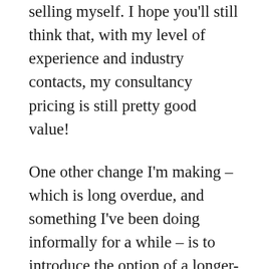selling myself. I hope you'll still think that, with my level of experience and industry contacts, my consultancy pricing is still pretty good value!
One other change I'm making – which is long overdue, and something I've been doing informally for a while – is to introduce the option of a longer-term working relationship with writers. A six-month partnership in which I act as mentor, providing feedback on ideas and scripts at every stage of development, giving specific, tailored career advice. Agreeing an action plan, giving written